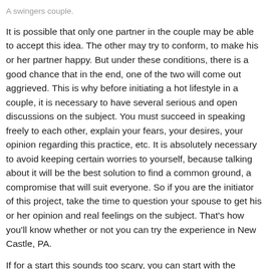A swingers couple.
It is possible that only one partner in the couple may be able to accept this idea. The other may try to conform, to make his or her partner happy. But under these conditions, there is a good chance that in the end, one of the two will come out aggrieved. This is why before initiating a hot lifestyle in a couple, it is necessary to have several serious and open discussions on the subject. You must succeed in speaking freely to each other, explain your fears, your desires, your opinion regarding this practice, etc. It is absolutely necessary to avoid keeping certain worries to yourself, because talking about it will be the best solution to find a common ground, a compromise that will suit everyone. So if you are the initiator of this project, take the time to question your spouse to get his or her opinion and real feelings on the subject. That's how you'll know whether or not you can try the experience in New Castle, PA.
If for a start this sounds too scary, you can start with the naughty cat. Just search the web for a sex ad or sites that offer a slutty